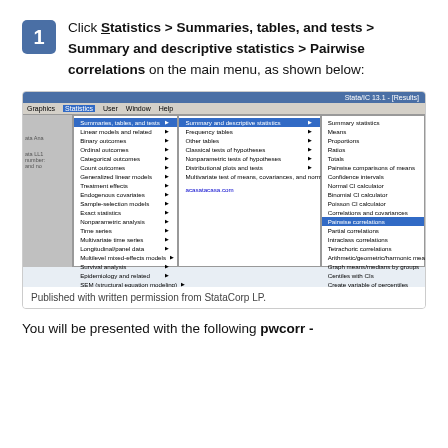Click Statistics > Summaries, tables, and tests > Summary and descriptive statistics > Pairwise correlations on the main menu, as shown below:
[Figure (screenshot): Screenshot of Stata statistical software showing the menu navigation: Statistics > Summaries, tables, and tests > Summary and descriptive statistics > Pairwise correlations, with the menu item highlighted in blue.]
Published with written permission from StataCorp LP.
You will be presented with the following pwcorr -